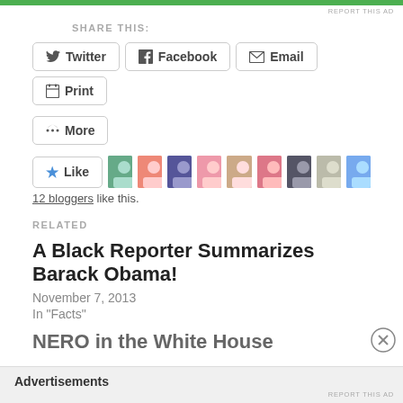[Figure (other): Green advertisement banner at top]
REPORT THIS AD
SHARE THIS:
Twitter  Facebook  Email  Print  More (share buttons)
[Figure (other): Like button with star icon and 9 blogger avatar thumbnails]
12 bloggers like this.
RELATED
A Black Reporter Summarizes Barack Obama!
November 7, 2013
In "Facts"
NERO in the White House
Advertisements
REPORT THIS AD